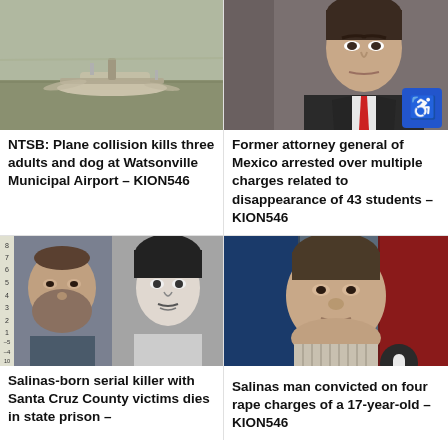[Figure (photo): Plane wreckage on a field at Watsonville Municipal Airport]
NTSB: Plane collision kills three adults and dog at Watsonville Municipal Airport – KION546
[Figure (photo): Former attorney general of Mexico, man in suit with red tie, with disability accessibility icon overlay]
Former attorney general of Mexico arrested over multiple charges related to disappearance of 43 students – KION546
[Figure (photo): Two mugshot photos: older man with beard and younger black-and-white photo of a person]
Salinas-born serial killer with Santa Cruz County victims dies in state prison –
[Figure (photo): Heavy-set man in striped shirt in front of flags, with notification bell icon overlay]
Salinas man convicted on four rape charges of a 17-year-old – KION546